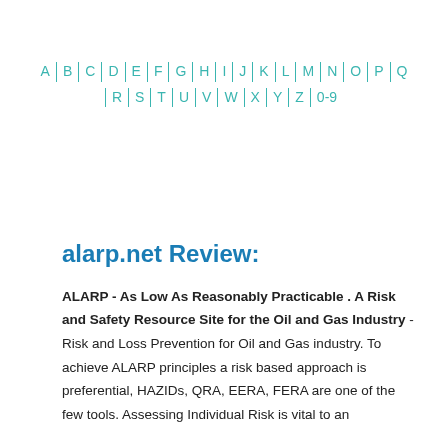[Figure (other): Alphabetical navigation index with letters A through Q on first row and R through Z plus 0-9 on second row, styled as teal/cyan colored links separated by vertical bars]
alarp.net Review:
ALARP - As Low As Reasonably Practicable . A Risk and Safety Resource Site for the Oil and Gas Industry - Risk and Loss Prevention for Oil and Gas industry. To achieve ALARP principles a risk based approach is preferential, HAZIDs, QRA, EERA, FERA are one of the few tools. Assessing Individual Risk is vital to an